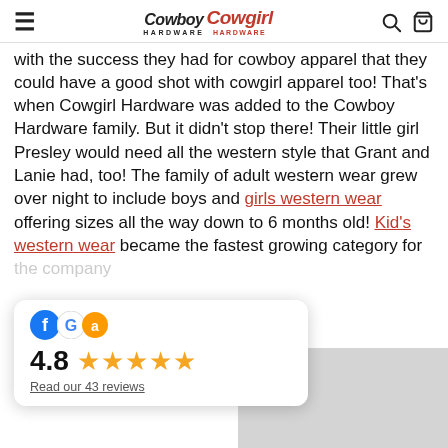Cowboy Hardware / Cowgirl Hardware — navigation header with search and cart icons
with the success they had for cowboy apparel that they could have a good shot with cowgirl apparel too! That's when Cowgirl Hardware was added to the Cowboy Hardware family. But it didn't stop there! Their little girl Presley would need all the western style that Grant and Lanie had, too! The family of adult western wear grew over night to include boys and girls western wear offering sizes all the way down to 6 months old! Kid's western wear became the fastest growing category for the company
[Figure (other): Review widget showing 4.8 star rating with Facebook, Google, and Amazon logos and 43 reviews link, overlaid on page content]
[Figure (photo): Gray/light colored photo partially visible at bottom right of page]